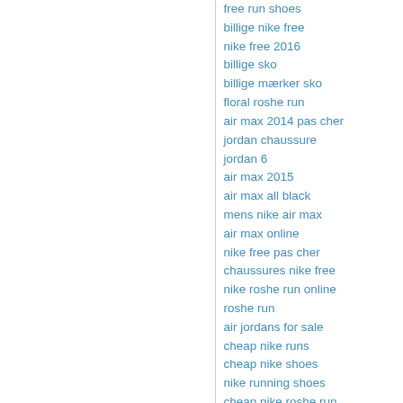free run shoes
billige nike free
nike free 2016
billige sko
billige mærker sko
floral roshe run
air max 2014 pas cher
jordan chaussure
jordan 6
air max 2015
air max all black
mens nike air max
air max online
nike free pas cher
chaussures nike free
nike roshe run online
roshe run
air jordans for sale
cheap nike runs
cheap nike shoes
nike running shoes
cheap nike roshe run
cheap nike free runs
exclusive jordan shop
nike shoes outlet